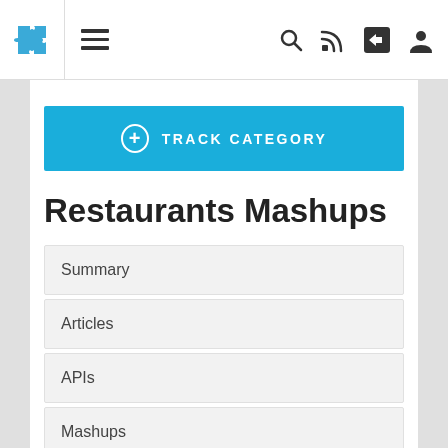[Figure (screenshot): Website navigation bar with puzzle piece logo, hamburger menu, search icon, RSS icon, share icon, and user profile icon]
[Figure (other): Blue 'Track Category' button with plus circle icon]
Restaurants Mashups
Summary
Articles
APIs
Mashups